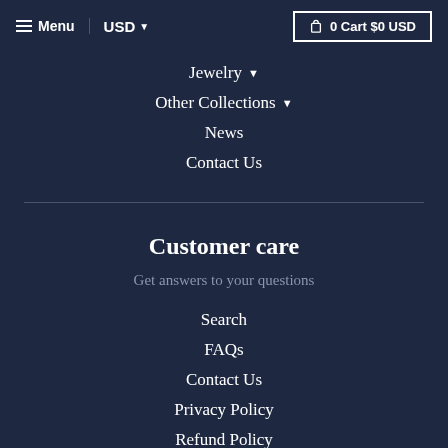Menu | USD | 0 Cart $0 USD
Jewelry
Other Collections
News
Contact Us
Customer care
Get answers to your questions
Search
FAQs
Contact Us
Privacy Policy
Refund Policy
Terms of Service
Shipping Policy
Get in touch